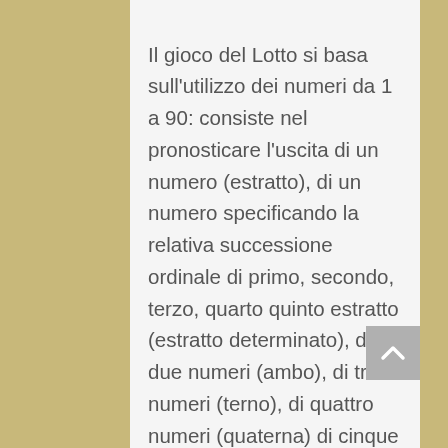Il gioco del Lotto si basa sull'utilizzo dei numeri da 1 a 90: consiste nel pronosticare l'uscita di un numero (estratto), di un numero specificando la relativa successione ordinale di primo, secondo, terzo, quarto quinto estratto (estratto determinato), di due numeri (ambo), di tre numeri (terno), di quattro numeri (quaterna) di cinque numeri (cinquina) su una singola ruota su tutte e dieci le ruote sulla ruota nazionale. Le estrazioni del lotto avvengono 3 giorni alla settimana, precisamente Martedì, Giovedì e Sabato sempre alle ore